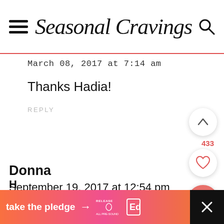Seasonal Cravings
March 08, 2017 at 7:14 am
Thanks Hadia!
REPLY
Donna
September 19, 2017 at 12:54 pm
[Figure (screenshot): Advertisement banner at bottom: 'take the pledge' with arrow, Release logo, and Ed logo, with close X button on right.]